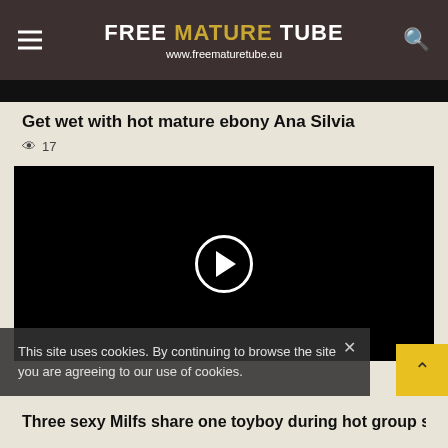FREE MATURE TUBE www.freematuretube.eu
Get wet with hot mature ebony Ana Silvia
👁 17
[Figure (screenshot): Black video player with white circular play button in the center]
This site uses cookies. By continuing to browse the site you are agreeing to our use of cookies.
Three sexy Milfs share one toyboy during hot group sex